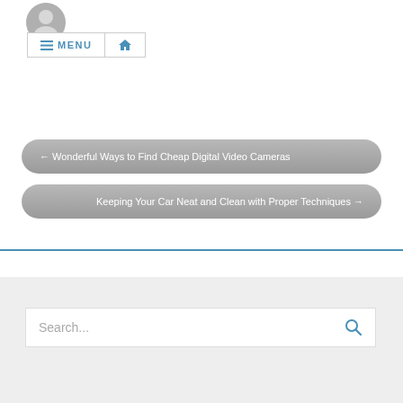[Figure (illustration): Grey avatar/user profile icon]
≡ MENU  🏠
← Wonderful Ways to Find Cheap Digital Video Cameras
Keeping Your Car Neat and Clean with Proper Techniques →
Search...